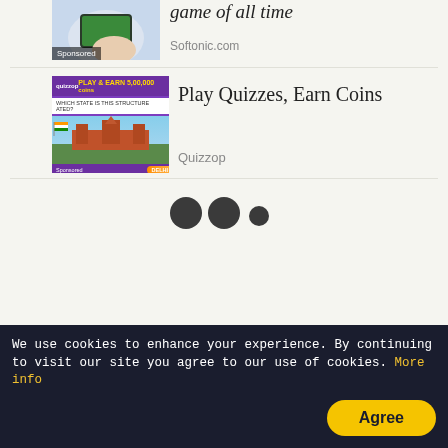[Figure (photo): Sponsored ad thumbnail showing person holding a tablet with a game, partially cropped at top]
game of all time
Softonic.com
[Figure (screenshot): Quizzop app screenshot showing quiz game with Red Fort image, play and earn 5,00,000 coins banner]
Play Quizzes, Earn Coins
Quizzop
[Figure (other): Three loading dots animation — two large dark circles and one smaller dark circle]
We use cookies to enhance your experience. By continuing to visit our site you agree to our use of cookies. More info
Agree